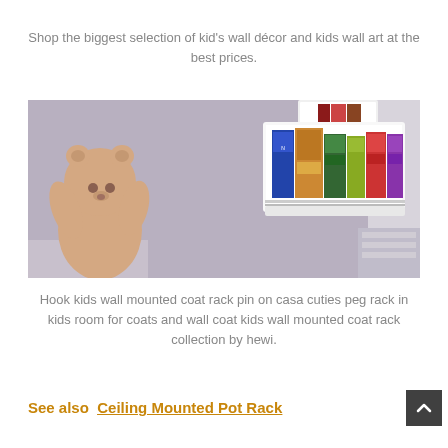Shop the biggest selection of kid's wall décor and kids wall art at the best prices.
[Figure (photo): A white wall-mounted book rack/shelf holding several colorful children's books, with a stuffed teddy bear visible on the left side, mounted on a light purple/lavender wall.]
Hook kids wall mounted coat rack pin on casa cuties peg rack in kids room for coats and wall coat kids wall mounted coat rack collection by hewi.
See also  Ceiling Mounted Pot Rack